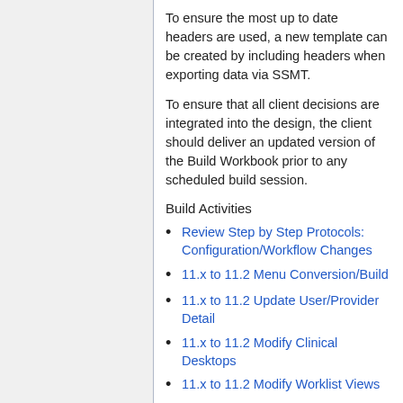To ensure the most up to date headers are used, a new template can be created by including headers when exporting data via SSMT.
To ensure that all client decisions are integrated into the design, the client should deliver an updated version of the Build Workbook prior to any scheduled build session.
Build Activities
Review Step by Step Protocols: Configuration/Workflow Changes
11.x to 11.2 Menu Conversion/Build
11.x to 11.2 Update User/Provider Detail
11.x to 11.2 Modify Clinical Desktops
11.x to 11.2 Modify Worklist Views
11.x to 11.2 Assign Worklist Views to Users